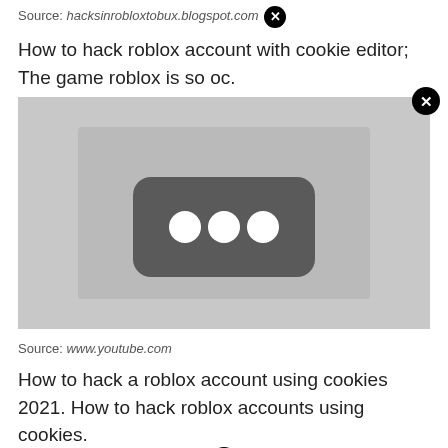Source: hacksinrobloxtobux.blogspot.com
How to hack roblox account with cookie editor; The game roblox is so oc.
[Figure (other): YouTube-style video thumbnail placeholder showing a dark rounded rectangle with three white circles (loading indicator) on a light gray background. Has a circular close/X button overlay at top.]
Source: www.youtube.com
How to hack a roblox account using cookies 2021. How to hack roblox accounts using cookies.
[Figure (screenshot): Partial screenshot of a web browser showing a webpage, with a circular close/X button overlay at top center.]